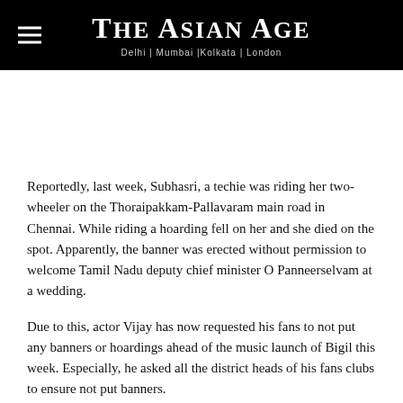THE ASIAN AGE — Delhi | Mumbai |Kolkata | London
[Figure (other): Advertisement / blank white space below header]
Reportedly, last week, Subhasri, a techie was riding her two-wheeler on the Thoraipakkam-Pallavaram main road in Chennai. While riding a hoarding fell on her and she died on the spot. Apparently, the banner was erected without permission to welcome Tamil Nadu deputy chief minister O Panneerselvam at a wedding.
Due to this, actor Vijay has now requested his fans to not put any banners or hoardings ahead of the music launch of Bigil this week. Especially, he asked all the district heads of his fans clubs to ensure not put banners.
Following Vijay, Suriya also requested his fans to stop putting up banners. Suriya in a press meet of his upcoming